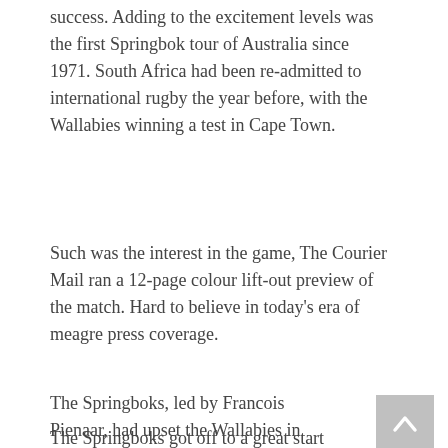success. Adding to the excitement levels was the first Springbok tour of Australia since 1971. South Africa had been re-admitted to international rugby the year before, with the Wallabies winning a test in Cape Town.
Such was the interest in the game, The Courier Mail ran a 12-page colour lift-out preview of the match. Hard to believe in today's era of meagre press coverage.
The Springboks, led by Francois Pienaar, had upset the Wallabies in Sydney keeping them try-less, and winning 19-12.
The Springboks got off to a great start